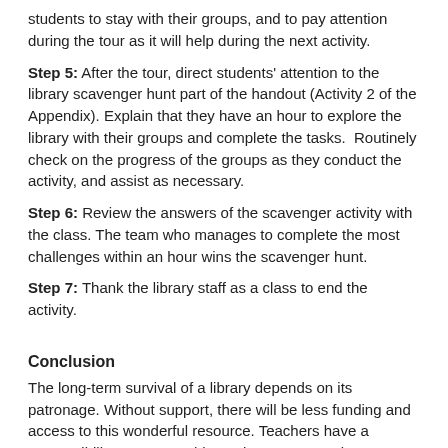students to stay with their groups, and to pay attention during the tour as it will help during the next activity.
Step 5: After the tour, direct students' attention to the library scavenger hunt part of the handout (Activity 2 of the Appendix). Explain that they have an hour to explore the library with their groups and complete the tasks.  Routinely check on the progress of the groups as they conduct the activity, and assist as necessary.
Step 6: Review the answers of the scavenger activity with the class. The team who manages to complete the most challenges within an hour wins the scavenger hunt.
Step 7: Thank the library staff as a class to end the activity.
Conclusion
The long-term survival of a library depends on its patronage. Without support, there will be less funding and access to this wonderful resource. Teachers have a responsibility to prevent this, and one way to raise awareness is to include an engaging library activity into the curriculum. Teachers can remind students that libraries are relevant and important, and pique their interest in book